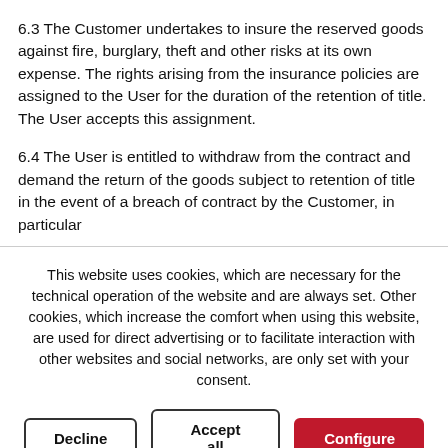6.3 The Customer undertakes to insure the reserved goods against fire, burglary, theft and other risks at its own expense. The rights arising from the insurance policies are assigned to the User for the duration of the retention of title. The User accepts this assignment.
6.4 The User is entitled to withdraw from the contract and demand the return of the goods subject to retention of title in the event of a breach of contract by the Customer, in particular
This website uses cookies, which are necessary for the technical operation of the website and are always set. Other cookies, which increase the comfort when using this website, are used for direct advertising or to facilitate interaction with other websites and social networks, are only set with your consent.